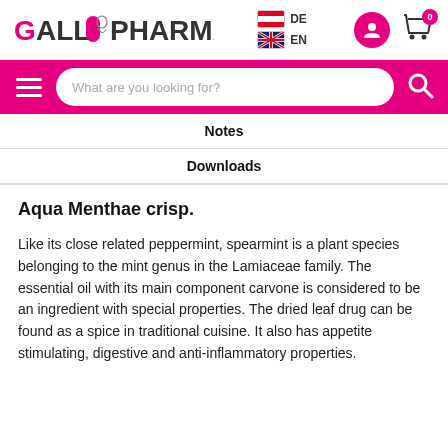GALL PHARMA — DE / EN — user icon — cart (0)
[Figure (screenshot): Gall Pharma logo with pink pill icon and figure illustration, language flags (DE/AT, EN/UK), user account icon in pink circle, shopping cart icon with 0 badge]
[Figure (screenshot): Pink navigation bar with hamburger menu, search input 'What are you looking for?', and search icon]
Notes
Downloads
Aqua Menthae crisp.
Like its close related peppermint, spearmint is a plant species belonging to the mint genus in the Lamiaceae family. The essential oil with its main component carvone is considered to be an ingredient with special properties. The dried leaf drug can be found as a spice in traditional cuisine. It also has appetite stimulating, digestive and anti-inflammatory properties.